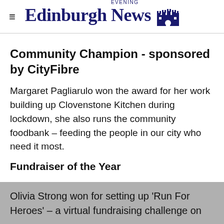Edinburgh Evening News
Community Champion - sponsored by CityFibre
Margaret Pagliarulo won the award for her work building up Clovenstone Kitchen during lockdown, she also runs the community foodbank – feeding the people in our city who need it most.
Fundraiser of the Year
Olivia Strong won for setting up 'Run For Heroes' – a virtual fundraising challenge on